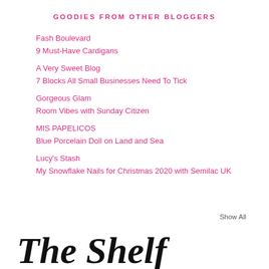GOODIES FROM OTHER BLOGGERS
Fash Boulevard
9 Must-Have Cardigans
A Very Sweet Blog
7 Blocks All Small Businesses Need To Tick
Gorgeous Glam
Room Vibes with Sunday Citizen
MIS PAPELICOS
Blue Porcelain Doll on Land and Sea
Lucy's Stash
My Snowflake Nails for Christmas 2020 with Semilac UK
Show All
The Shelf